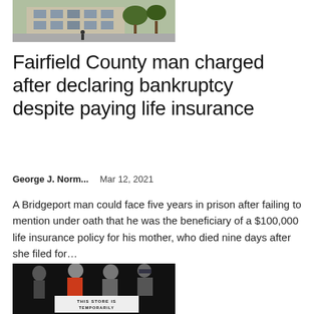[Figure (photo): Exterior photo of a building with trees, taken from street level, showing a person walking on the sidewalk.]
Fairfield County man charged after declaring bankruptcy despite paying life insurance
George J. Norm...    Mar 12, 2021
A Bridgeport man could face five years in prison after failing to mention under oath that he was the beneficiary of a $100,000 life insurance policy for his mother, who died nine days after she filed for…
[Figure (photo): Photo of store mannequins in a shop window display with a sign reading 'THIS STORE IS TEMPORARILY'.]